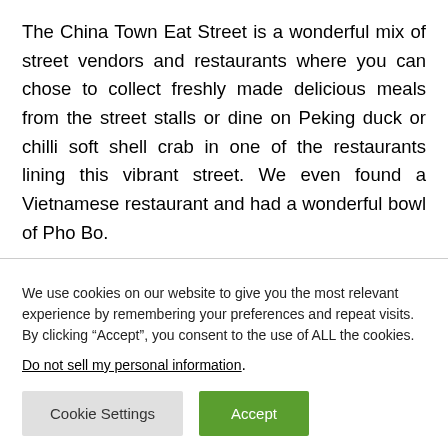The China Town Eat Street is a wonderful mix of street vendors and restaurants where you can chose to collect freshly made delicious meals from the street stalls or dine on Peking duck or chilli soft shell crab in one of the restaurants lining this vibrant street. We even found a Vietnamese restaurant and had a wonderful bowl of Pho Bo.
We use cookies on our website to give you the most relevant experience by remembering your preferences and repeat visits. By clicking “Accept”, you consent to the use of ALL the cookies.
Do not sell my personal information.
Cookie Settings
Accept